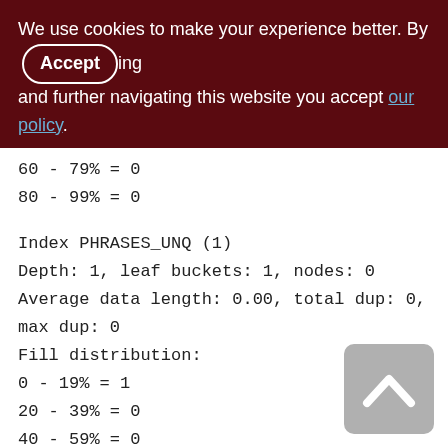We use cookies to make your experience better. By Accepting and further navigating this website you accept our policy.
60 - 79% = 0
80 - 99% = 0
Index PHRASES_UNQ (1)
Depth: 1, leaf buckets: 1, nodes: 0
Average data length: 0.00, total dup: 0, max dup: 0
Fill distribution:
0 - 19% = 1
20 - 39% = 0
40 - 59% = 0
60 - 79% = 0
80 - 99% = 0